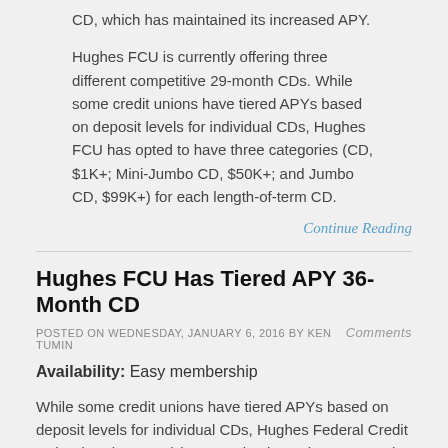CD, which has maintained its increased APY.
Hughes FCU is currently offering three different competitive 29-month CDs. While some credit unions have tiered APYs based on deposit levels for individual CDs, Hughes FCU has opted to have three categories (CD, $1K+; Mini-Jumbo CD, $50K+; and Jumbo CD, $99K+) for each length-of-term CD.
Continue Reading
Hughes FCU Has Tiered APY 36-Month CD
POSTED ON WEDNESDAY, JANUARY 6, 2016 BY KEN TUMIN
Comments
Availability: Easy membership
While some credit unions have tiered APYs based on deposit levels for individual CDs, Hughes Federal Credit Union (Hughes FCU) has opted to have three categories (CD, $1K+; Mini-Jumbo CD, $50K+; and Jumbo CD, $99K+) for each length-of-term CD.
Over the weekend, Hughes FCU raised the rates on all its CDs, with the